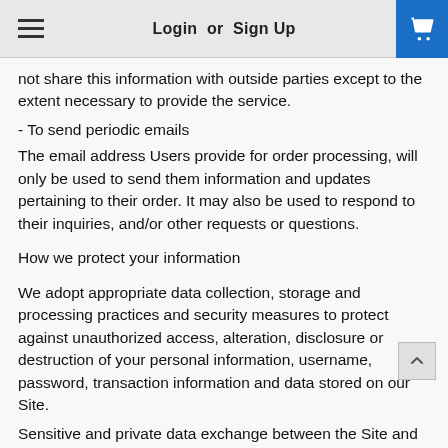Login or Sign Up
not share this information with outside parties except to the extent necessary to provide the service.
- To send periodic emails
The email address Users provide for order processing, will only be used to send them information and updates pertaining to their order. It may also be used to respond to their inquiries, and/or other requests or questions.
How we protect your information
We adopt appropriate data collection, storage and processing practices and security measures to protect against unauthorized access, alteration, disclosure or destruction of your personal information, username, password, transaction information and data stored on our Site.
Sensitive and private data exchange between the Site and its Users happens over a SSL secured communication channel and is encrypted and protected with digital signatures.